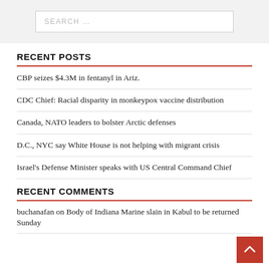[Figure (other): Search input box with placeholder text SEARCH ...]
RECENT POSTS
CBP seizes $4.3M in fentanyl in Ariz.
CDC Chief: Racial disparity in monkeypox vaccine distribution
Canada, NATO leaders to bolster Arctic defenses
D.C., NYC say White House is not helping with migrant crisis
Israel's Defense Minister speaks with US Central Command Chief
RECENT COMMENTS
buchanafan on Body of Indiana Marine slain in Kabul to be returned Sunday